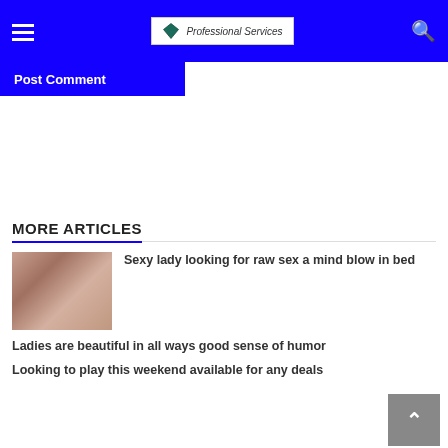Professional Services (logo) — navigation header
Post Comment
MORE ARTICLES
[Figure (photo): Thumbnail image for article]
Sexy lady looking for raw sex a mind blow in bed
Ladies are beautiful in all ways good sense of humor
Looking to play this weekend available for any deals